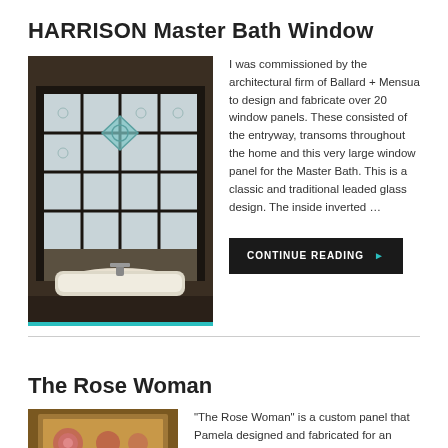HARRISON Master Bath Window
[Figure (photo): Interior bathroom photograph showing a large leaded glass window panel with geometric diamond and grid pattern in dark frame, above a freestanding white bathtub against stone tile wall. Teal bar at bottom.]
I was commissioned by the architectural firm of Ballard + Mensua to design and fabricate over 20 window panels. These consisted of the entryway, transoms throughout the home and this very large window panel for the Master Bath. This is a classic and traditional leaded glass design. The inside inverted …
CONTINUE READING ▶
The Rose Woman
[Figure (photo): Warm-toned photo showing a decorative panel with rose motifs on a wooden/amber background.]
"The Rose Woman" is a custom panel that Pamela designed and fabricated for an architect whose home